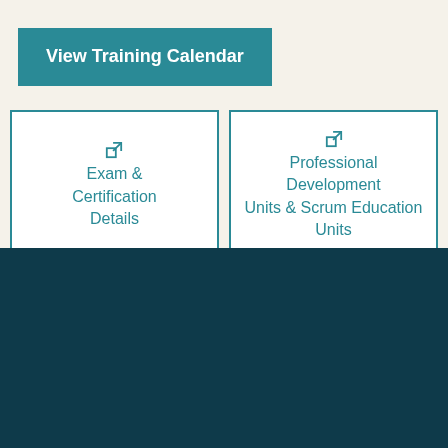View Training Calendar
Exam & Certification Details
Professional Development Units & Scrum Education Units
What people say about SAFe® for Architects